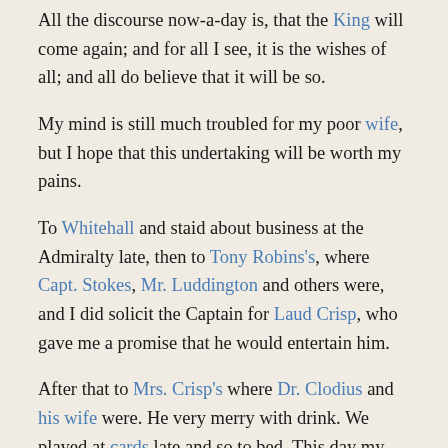All the discourse now-a-day is, that the King will come again; and for all I see, it is the wishes of all; and all do believe that it will be so.
My mind is still much troubled for my poor wife, but I hope that this undertaking will be worth my pains.
To Whitehall and staid about business at the Admiralty late, then to Tony Robins's, where Capt. Stokes, Mr. Luddington and others were, and I did solicit the Captain for Laud Crisp, who gave me a promise that he would entertain him.
After that to Mrs. Crisp's where Dr. Clodius and his wife were. He very merry with drink. We played at cards late and so to bed. This day my Lord dined at my Lord Mayor's [Allen], and Jasper was made drunk, which my Lord was very angry at.